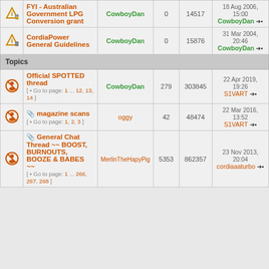|  | Topic | Author | Replies | Views | Last Post |
| --- | --- | --- | --- | --- | --- |
| [icon] | FYI - Australian Government LPG Conversion grant | CowboyDan | 0 | 14517 | 18 Aug 2006, 15:00 CowboyDan |
| [icon] | CordiaPower General Guidelines | CowboyDan | 0 | 15876 | 31 Mar 2004, 20:46 CowboyDan |
| Topics section header |  |  |  |  |  |
| [icon] | Official SPOTTED thread [ Go to page: 1 ... 12, 13, 14 ] | CowboyDan | 279 | 303845 | 22 Apr 2019, 19:26 S1VART |
| [icon] | magazine scans [ Go to page: 1, 2, 3 ] | oggy | 42 | 48474 | 22 Mar 2016, 13:52 S1VART |
| [icon] | General Chat Thread ~~ BOOST, BURNOUTS, BOOZE & BABES ~~ [ Go to page: 1 ... 266, 267, 268 ] | MerlinTheHapyPig | 5353 | 862357 | 23 Nov 2013, 20:04 cordiaaaturbo |